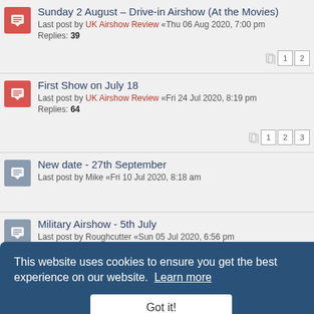Sunday 2 August – Drive-in Airshow (At the Movies)
Last post by UK Airshow Review «Thu 06 Aug 2020, 7:00 pm
Replies: 39
First Show on July 18
Last post by UK Airshow Review «Fri 24 Jul 2020, 8:19 pm
Replies: 64
New date - 27th September
Last post by Mike «Fri 10 Jul 2020, 8:18 am
Military Airshow - 5th July
Last post by Roughcutter «Sun 05 Jul 2020, 6:56 pm
Replies: 2
2020 Show Dates
Last post by SVAS «Tue 30 Jun 2020, 1:11 pm
Shuttleworth Statement on Covid-19
Last post by itfcs «Wed 10 Jun 2020, 6:34 pm
Replies: 8
2020 SVAS Membership Cards
This website uses cookies to ensure you get the best experience on our website. Learn more
Got it!